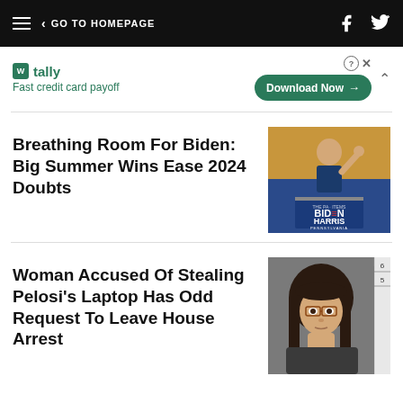GO TO HOMEPAGE
[Figure (screenshot): Tally app advertisement banner — Fast credit card payoff, Download Now button]
Breathing Room For Biden: Big Summer Wins Ease 2024 Doubts
[Figure (photo): Joe Biden waving at a campaign event with Biden-Harris Pennsylvania sign]
Woman Accused Of Stealing Pelosi's Laptop Has Odd Request To Leave House Arrest
[Figure (photo): Mugshot of a young woman with dark hair and glasses against a gray background with height measurement ruler]